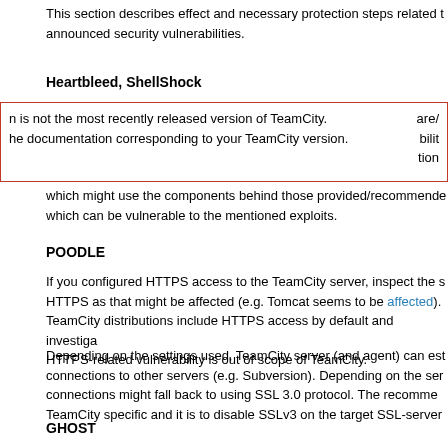This section describes effect and necessary protection steps related to announced security vulnerabilities.
Heartbleed, ShellShock
n is not the most recently released version of TeamCity. he documentation corresponding to your TeamCity version. which might use the components behind those provided/recommended which can be vulnerable to the mentioned exploits.
POODLE
If you configured HTTPS access to the TeamCity server, inspect the s HTTPS as that might be affected (e.g. Tomcat seems to be affected). TeamCity distributions include HTTPS access by default and investiga HTTPS-related vulnerability is out of scope of TeamCity.
Depending on the settings used, TeamCity server (and agent) can est connections to other servers (e.g. Subversion). Depending on the ser connections might fall back to using SSL 3.0 protocol. The recommed TeamCity specific and it is to disable SSLv3 on the target SSL-server
GHOST